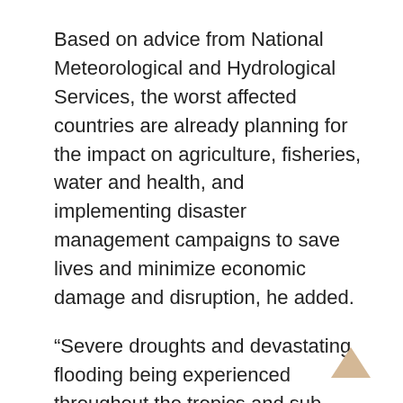Based on advice from National Meteorological and Hydrological Services, the worst affected countries are already planning for the impact on agriculture, fisheries, water and health, and implementing disaster management campaigns to save lives and minimize economic damage and disruption, he added.
“Severe droughts and devastating flooding being experienced throughout the tropics and sub-tropical zones bear the hallmarks of this El Niño, which is the strongest for more than 15 years,” he said, noting that peak three-month average surface water temperatures in the east-central tropical Pacific Ocean will exceed 2 degrees Celsius above normal.
But, he stressed: “We are better prepared for this